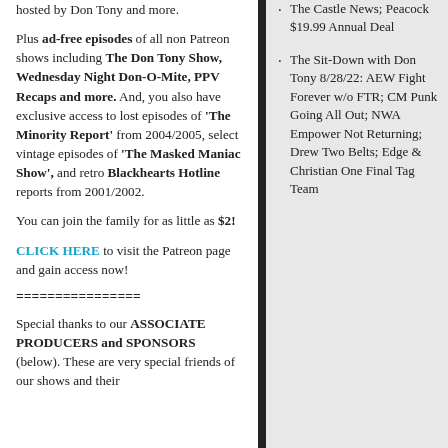hosted by Don Tony and more.
Plus ad-free episodes of all non Patreon shows including The Don Tony Show, Wednesday Night Don-O-Mite, PPV Recaps and more. And, you also have exclusive access to lost episodes of 'The Minority Report' from 2004/2005, select vintage episodes of 'The Masked Maniac Show', and retro Blackhearts Hotline reports from 2001/2002.
You can join the family for as little as $2!
CLICK HERE to visit the Patreon page and gain access now!
================
Special thanks to our ASSOCIATE PRODUCERS and SPONSORS (below). These are very special friends of our shows and their
The Castle News; Peacock $19.99 Annual Deal
The Sit-Down with Don Tony 8/28/22: AEW Fight Forever w/o FTR; CM Punk Going All Out; NWA Empower Not Returning; Drew Two Belts; Edge & Christian One Final Tag Team...